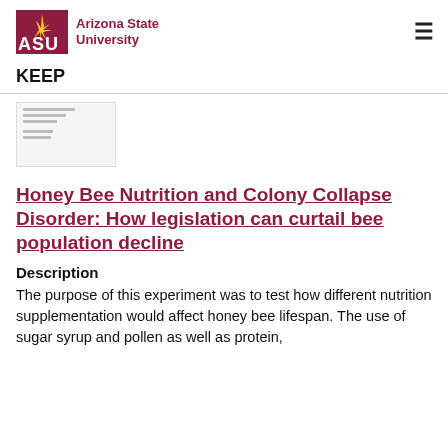[Figure (logo): Arizona State University logo with ASU text in maroon and gold sunburst icon]
KEEP
[Figure (screenshot): Thumbnail preview of a document page showing small text lines]
Honey Bee Nutrition and Colony Collapse Disorder: How legislation can curtail bee population decline
Description
The purpose of this experiment was to test how different nutrition supplementation would affect honey bee lifespan. The use of sugar syrup and pollen as well as protein,